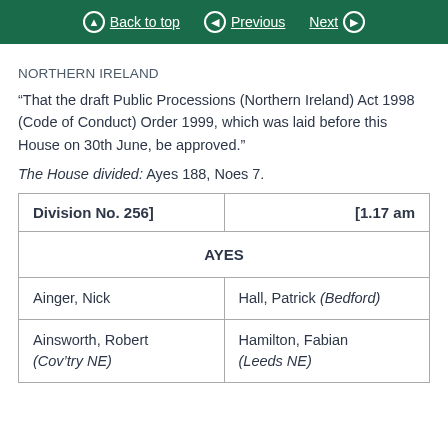Back to top  Previous  Next
NORTHERN IRELAND
“That the draft Public Processions (Northern Ireland) Act 1998 (Code of Conduct) Order 1999, which was laid before this House on 30th June, be approved.”
The House divided: Ayes 188, Noes 7.
| Division No. 256] | [1.17 am |
| --- | --- |
| AYES |  |
| Ainger, Nick | Hall, Patrick (Bedford) |
| Ainsworth, Robert (Cov’try NE) | Hamilton, Fabian (Leeds NE) |